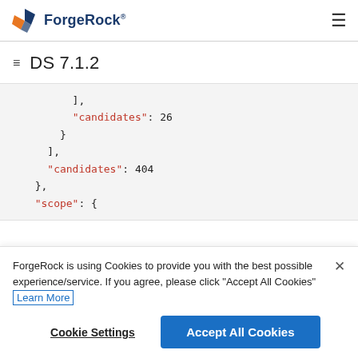ForgeRock DS 7.1.2
DS 7.1.2
[Figure (screenshot): JSON code snippet showing fields: ], "candidates": 26, }, ], "candidates": 404, }, "scope": {]
ForgeRock is using Cookies to provide you with the best possible experience/service. If you agree, please click "Accept All Cookies" Learn More
Cookie Settings   Accept All Cookies